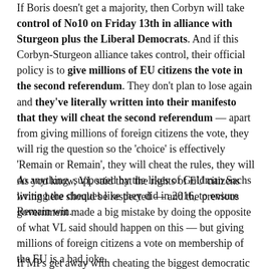If Boris doesn't get a majority, then Corbyn will take control of No10 on Friday 13th in alliance with Sturgeon plus the Liberal Democrats. And if this Corbyn-Sturgeon alliance takes control, their official policy is to give millions of EU citizens the vote in the second referendum. They don't plan to lose again and they've literally written into their manifesto that they will cheat the second referendum — apart from giving millions of foreign citizens the vote, they will rig the question so the 'choice' is effectively 'Remain or Remain', they will cheat the rules, they will do anything, supported by the likes of Goldman Sachs writing the cheques like they did in 2016, to ensure Remain win.
As you know, VL said that the rights of EU citizens living here should be respected — and the previous government made a big mistake by doing the opposite of what VL said should happen on this — but giving millions of foreign citizens a vote on membership of the EU is a bad joke.
If MPs get away with cheating the biggest democratic vote in our